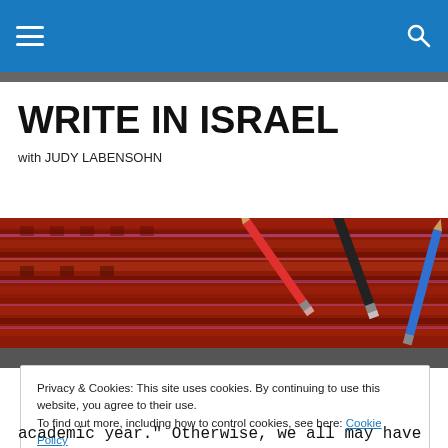WRITE IN ISRAEL
WRITE IN ISRAEL
with JUDY LABENSOHN
[Figure (photo): Header photo showing colorful woven textile background with pencils lying on top]
Privacy & Cookies: This site uses cookies. By continuing to use this website, you agree to their use.
To find out more, including how to control cookies, see here: Cookie Policy
Close and accept
academic year." Otherwise, we all may have